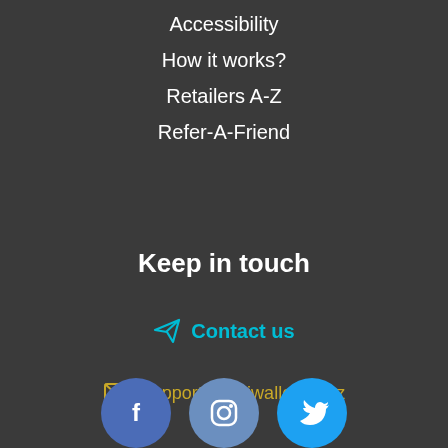Accessibility
How it works?
Retailers A-Z
Refer-A-Friend
Keep in touch
Contact us
support@kiwiwallet.co.nz
[Figure (illustration): Social media icons: Facebook, Instagram, Twitter]